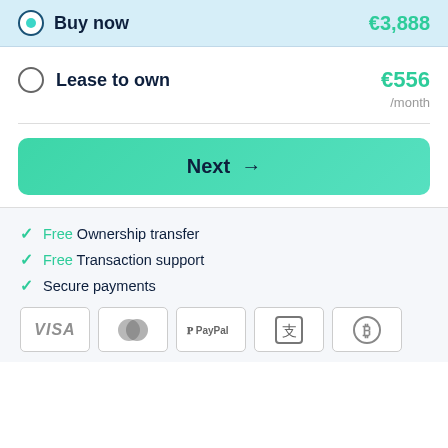Buy now — €3,888
Lease to own — €556 /month
Next →
Free Ownership transfer
Free Transaction support
Secure payments
[Figure (other): Payment method icons: VISA, Mastercard, PayPal, Alipay, Bitcoin]